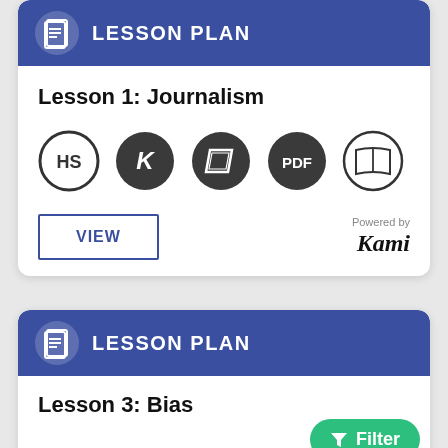LESSON PLAN
Lesson 1: Journalism
[Figure (logo): Row of five circular icons: HS (high school), K (Kami), parallelogram/document, PDF, and open book]
VIEW
Powered by Kami
LESSON PLAN
Lesson 3: Bias
Filter